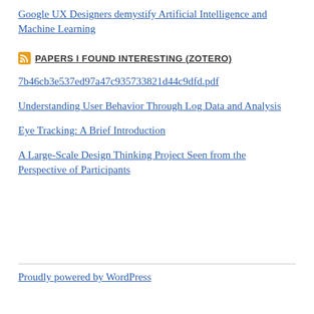Google UX Designers demystify Artificial Intelligence and Machine Learning
PAPERS I FOUND INTERESTING (ZOTERO)
7b46cb3e537ed97a47c935733821d44c9dfd.pdf
Understanding User Behavior Through Log Data and Analysis
Eye Tracking: A Brief Introduction
A Large-Scale Design Thinking Project Seen from the Perspective of Participants
Proudly powered by WordPress